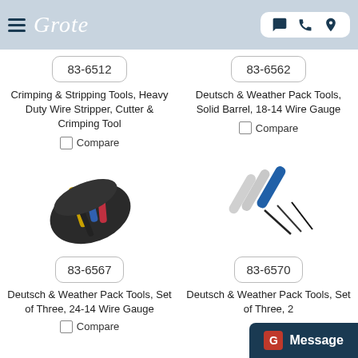Grote
[Figure (photo): Product card top-left: part number 83-6512, Crimping & Stripping Tools, Heavy Duty Wire Stripper, Cutter & Crimping Tool]
Crimping & Stripping Tools, Heavy Duty Wire Stripper, Cutter & Crimping Tool
Compare
[Figure (photo): Product card top-right: part number 83-6562, Deutsch & Weather Pack Tools, Solid Barrel, 18-14 Wire Gauge]
Deutsch & Weather Pack Tools, Solid Barrel, 18-14 Wire Gauge
Compare
[Figure (photo): Product image: tool kit with colored screwdrivers in black pouch, part 83-6567]
83-6567
Deutsch & Weather Pack Tools, Set of Three, 24-14 Wire Gauge
Compare
[Figure (photo): Product image: two slim tools with blue and gray handles, part 83-6570]
83-6570
Deutsch & Weather Pack Tools, Set of Three, 2...
Message